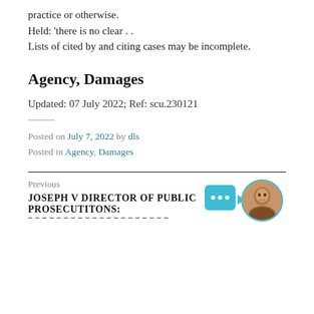practice or otherwise. Held: 'there is no clear . . Lists of cited by and citing cases may be incomplete.
Agency, Damages
Updated: 07 July 2022; Ref: scu.230121
Posted on July 7, 2022 by dls
Posted in Agency, Damages
Previous
JOSEPH V DIRECTOR OF PUBLIC PROSECUTITONS: